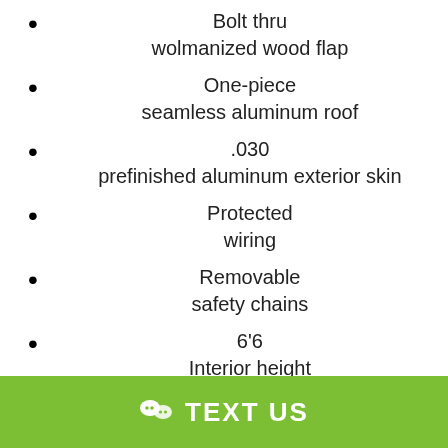Bolt thru
wolmanized wood flap
One-piece
seamless aluminum roof
.030
prefinished aluminum exterior skin
Protected
wiring
Removable
safety chains
6'6
Interior height
TEXT US